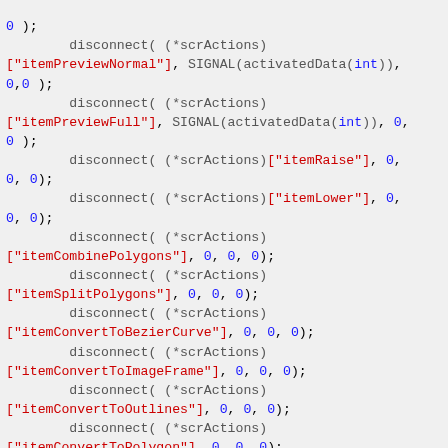Code snippet showing disconnect() calls with scrActions in C++